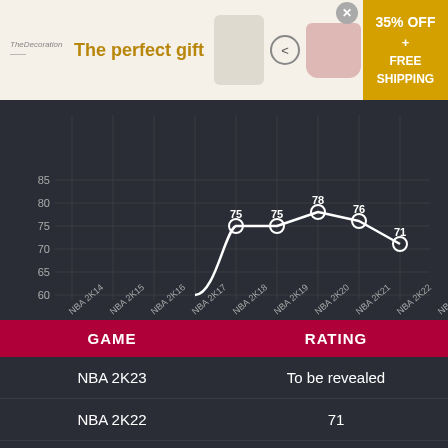[Figure (advertisement): Ad banner for 'The perfect gift' featuring perfume bottle and pink bowl with nuts, navigation arrows, and 35% OFF + FREE SHIPPING badge]
[Figure (line-chart): NBA 2K ratings over time]
| GAME | RATING |
| --- | --- |
| NBA 2K23 | To be revealed |
| NBA 2K22 | 71 |
| NBA 2K21 | 76 |
[Figure (advertisement): Bottom ad banner for 'The perfect gift' featuring same items as top banner]